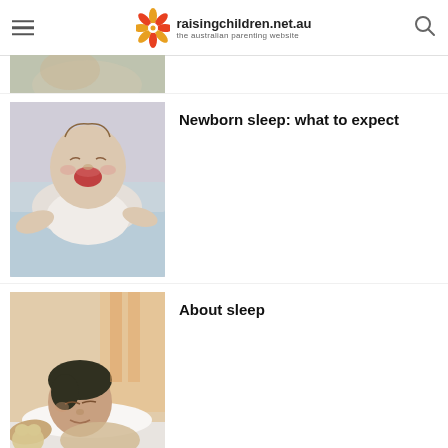raisingchildren.net.au — the australian parenting website
[Figure (photo): Partial top photo, cropped baby/child image]
[Figure (photo): Crying newborn baby lying on light blue surface]
Newborn sleep: what to expect
[Figure (photo): Child sleeping peacefully in bed with stuffed animal]
About sleep